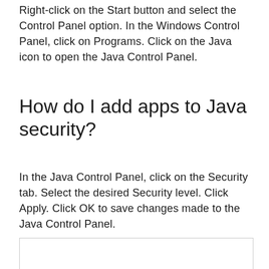Right-click on the Start button and select the Control Panel option. In the Windows Control Panel, click on Programs. Click on the Java icon to open the Java Control Panel.
How do I add apps to Java security?
In the Java Control Panel, click on the Security tab. Select the desired Security level. Click Apply. Click OK to save changes made to the Java Control Panel.
[Figure (other): Empty white box with border, likely placeholder for an image or screenshot]